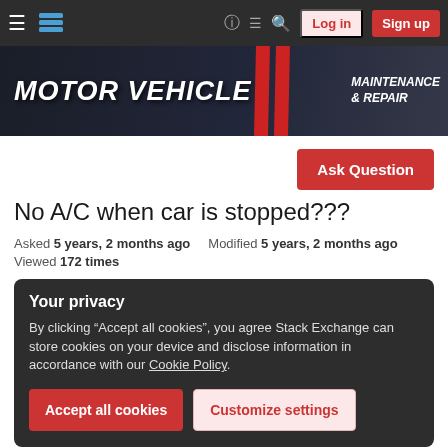Motor Vehicle Maintenance & Repair — Stack Exchange navigation bar with Log in and Sign up buttons
[Figure (screenshot): Motor Vehicle Maintenance & Repair Stack Exchange banner with red diagonal stripe design]
Ask Question
No A/C when car is stopped???
Asked 5 years, 2 months ago   Modified 5 years, 2 months ago
Viewed 172 times
Your privacy
By clicking "Accept all cookies", you agree Stack Exchange can store cookies on your device and disclose information in accordance with our Cookie Policy.
Accept all cookies   Customize settings
What else can I check at this point?